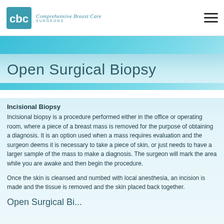Comprehensive Breast Care Surgeons
Open Surgical Biopsy
Incisional Biopsy
Incisional biopsy is a procedure performed either in the office or operating room, where a piece of a breast mass is removed for the purpose of obtaining a diagnosis. It is an option used when a mass requires evaluation and the surgeon deems it is necessary to take a piece of skin, or just needs to have a larger sample of the mass to make a diagnosis. The surgeon will mark the area while you are awake and then begin the procedure.
Once the skin is cleansed and numbed with local anesthesia, an incision is made and the tissue is removed and the skin placed back together.